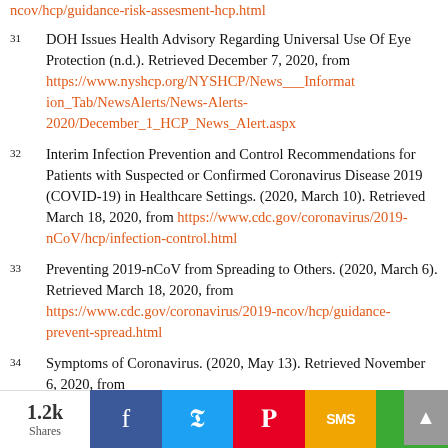ncov/hcp/guidance-risk-assesment-hcp.html
31 DOH Issues Health Advisory Regarding Universal Use Of Eye Protection (n.d.). Retrieved December 7, 2020, from https://www.nyshcp.org/NYSHCP/News___Information_Tab/NewsAlerts/News-Alerts-2020/December_1_HCP_News_Alert.aspx
32 Interim Infection Prevention and Control Recommendations for Patients with Suspected or Confirmed Coronavirus Disease 2019 (COVID-19) in Healthcare Settings. (2020, March 10). Retrieved March 18, 2020, from https://www.cdc.gov/coronavirus/2019-nCoV/hcp/infection-control.html
33 Preventing 2019-nCoV from Spreading to Others. (2020, March 6). Retrieved March 18, 2020, from https://www.cdc.gov/coronavirus/2019-ncov/hcp/guidance-prevent-spread.html
34 Symptoms of Coronavirus. (2020, May 13). Retrieved November 6, 2020, from